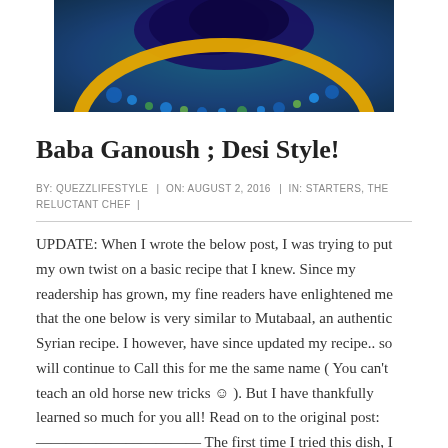[Figure (photo): Photo of a decorated plate with eggplant/baba ganoush dish on a dark blue/teal background, showing the plate's colorful floral rim in yellow, blue, and green.]
Baba Ganoush ; Desi Style!
BY: QUEZZLIFESTYLE | ON: AUGUST 2, 2016 | IN: STARTERS, THE RELUCTANT CHEF |
UPDATE: When I wrote the below post, I was trying to put my own twist on a basic recipe that I knew. Since my readership has grown, my fine readers have enlightened me that the one below is very similar to Mutabaal, an authentic Syrian recipe. I however, have since updated my recipe.. so will continue to Call this for me the same name ( You can't teach an old horse new tricks © ). But I have thankfully learned so much for you all! Read on to the original post: ————————————— The first time I tried this dish, I was young and foolish, and